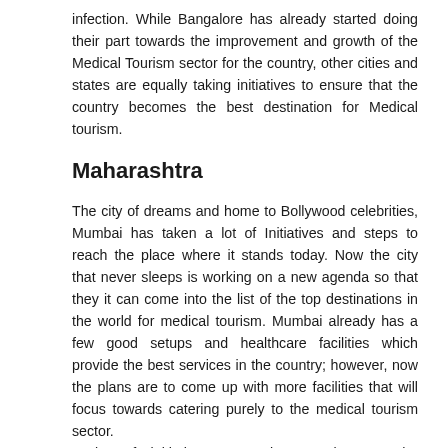infection. While Bangalore has already started doing their part towards the improvement and growth of the Medical Tourism sector for the country, other cities and states are equally taking initiatives to ensure that the country becomes the best destination for Medical tourism.
Maharashtra
The city of dreams and home to Bollywood celebrities, Mumbai has taken a lot of Initiatives and steps to reach the place where it stands today. Now the city that never sleeps is working on a new agenda so that they it can come into the list of the top destinations in the world for medical tourism. Mumbai already has a few good setups and healthcare facilities which provide the best services in the country; however, now the plans are to come up with more facilities that will focus towards catering purely to the medical tourism sector.
A lot of initiatives are taken to improve the infrastructure of the city and the state; there are plans to improve the facilities not just in Mumbai but also in Nagpur and Pune so that the state can do its part in contributing towards the growth of the Medical tourism sector in the country. The state government is working on a plan by creating a web platform for patients across the Globe who is looking out for assistance for their health. Another initiative that is